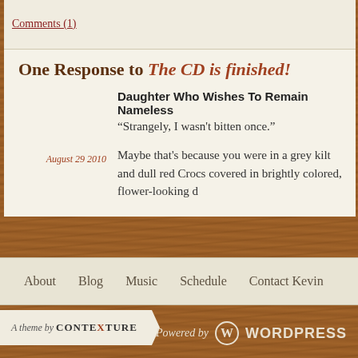Comments (1)
One Response to The CD is finished!
Daughter Who Wishes To Remain Nameless
“Strangely, I wasn't bitten once.”
August 29 2010
Maybe that's because you were in a grey kilt and dull red Crocs covered in brightly colored, flower-looking d
About  Blog  Music  Schedule  Contact Kevin
A theme by CONTEXTURE
Powered by WordPress